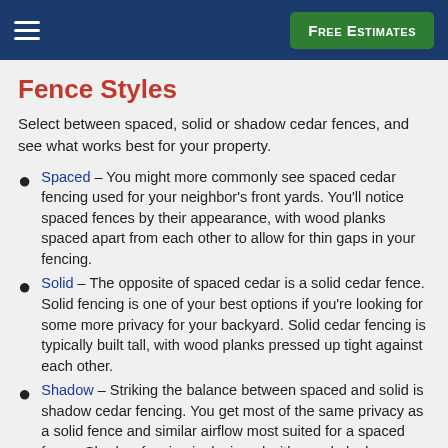Free Estimates
Fence Styles
Select between spaced, solid or shadow cedar fences, and see what works best for your property.
Spaced – You might more commonly see spaced cedar fencing used for your neighbor's front yards. You'll notice spaced fences by their appearance, with wood planks spaced apart from each other to allow for thin gaps in your fencing.
Solid – The opposite of spaced cedar is a solid cedar fence. Solid fencing is one of your best options if you're looking for some more privacy for your backyard. Solid cedar fencing is typically built tall, with wood planks pressed up tight against each other.
Shadow – Striking the balance between spaced and solid is shadow cedar fencing. You get most of the same privacy as a solid fence and similar airflow most suited for a spaced fence. Shadow fencing is designed with wood planks visually